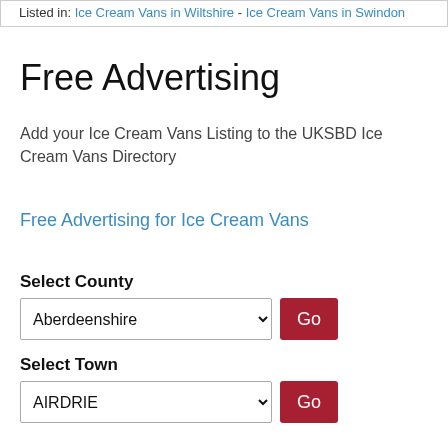Listed in: Ice Cream Vans in Wiltshire - Ice Cream Vans in Swindon
Free Advertising
Add your Ice Cream Vans Listing to the UKSBD Ice Cream Vans Directory
Free Advertising for Ice Cream Vans
Select County
Aberdeenshire
Select Town
AIRDRIE